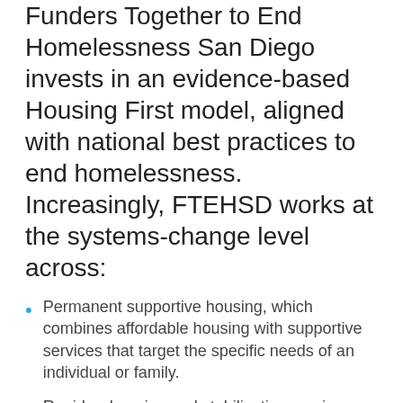Funders Together to End Homelessness San Diego invests in an evidence-based Housing First model, aligned with national best practices to end homelessness. Increasingly, FTEHSD works at the systems-change level across:
Permanent supportive housing, which combines affordable housing with supportive services that target the specific needs of an individual or family.
Rapid re-housing and stabilization services focus on quickly moving people experiencing homelessness out of temporary emergency shelter and into